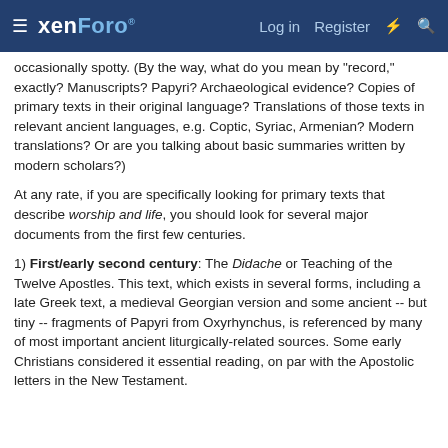xenForo  Log in  Register
occasionally spotty. (By the way, what do you mean by "record," exactly? Manuscripts? Papyri? Archaeological evidence? Copies of primary texts in their original language? Translations of those texts in relevant ancient languages, e.g. Coptic, Syriac, Armenian? Modern translations? Or are you talking about basic summaries written by modern scholars?)
At any rate, if you are specifically looking for primary texts that describe worship and life, you should look for several major documents from the first few centuries.
1) First/early second century: The Didache or Teaching of the Twelve Apostles. This text, which exists in several forms, including a late Greek text, a medieval Georgian version and some ancient -- but tiny -- fragments of Papyri from Oxyrhynchus, is referenced by many of most important ancient liturgically-related sources. Some early Christians considered it essential reading, on par with the Apostolic letters in the New Testament.